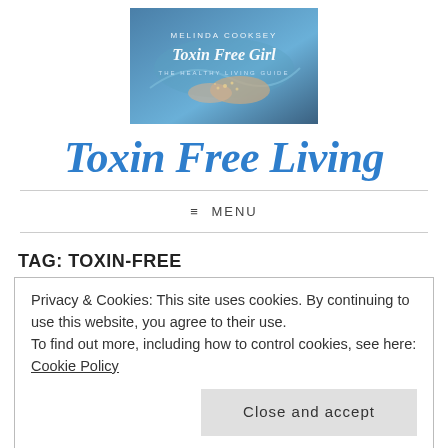[Figure (logo): Melinda Cooksey Toxin Free Girl - The Healthy Living Guide blog logo with woman in hammock and nature imagery]
Toxin Free Living
≡ MENU
TAG: TOXIN-FREE
Privacy & Cookies: This site uses cookies. By continuing to use this website, you agree to their use.
To find out more, including how to control cookies, see here: Cookie Policy
Close and accept